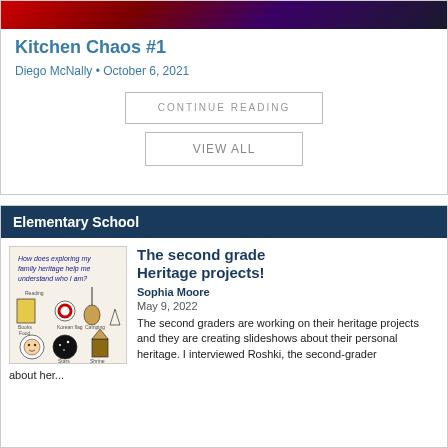[Figure (illustration): Colorful comic-style image strip at the top]
Kitchen Chaos #1
Diego McNally • October 6, 2021
CONTINUE READING
VIEW ALL
Elementary School
[Figure (illustration): Hand-drawn student project showing heritage items with text 'How does exploring my family heritage help me understand who I am?']
The second grade Heritage projects!
Sophia Moore
May 9, 2022
The second graders are working on their heritage projects and they are creating slideshows about their personal heritage. I interviewed Roshki, the second-grader about her...